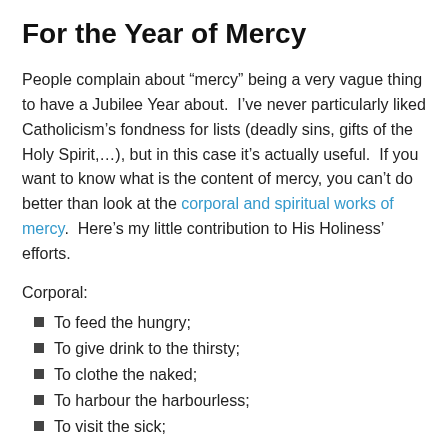For the Year of Mercy
People complain about “mercy” being a very vague thing to have a Jubilee Year about.  I’ve never particularly liked Catholicism’s fondness for lists (deadly sins, gifts of the Holy Spirit,…), but in this case it’s actually useful.  If you want to know what is the content of mercy, you can’t do better than look at the corporal and spiritual works of mercy.  Here’s my little contribution to His Holiness’ efforts.
Corporal:
To feed the hungry;
To give drink to the thirsty;
To clothe the naked;
To harbour the harbourless;
To visit the sick;